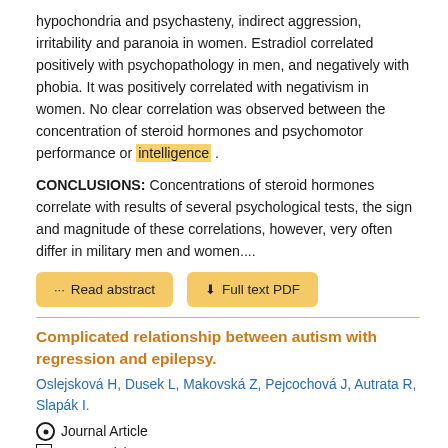hypochondria and psychasteny, indirect aggression, irritability and paranoia in women. Estradiol correlated positively with psychopathology in men, and negatively with phobia. It was positively correlated with negativism in women. No clear correlation was observed between the concentration of steroid hormones and psychomotor performance or intelligence .
CONCLUSIONS: Concentrations of steroid hormones correlate with results of several psychological tests, the sign and magnitude of these correlations, however, very often differ in military men and women....
Read abstract | Full text PDF
Complicated relationship between autism with regression and epilepsy.
Oslejsková H, Dusek L, Makovská Z, Pejcochová J, Autrata R, Slapák I.
Journal Article
2008; 39(4): 558-579